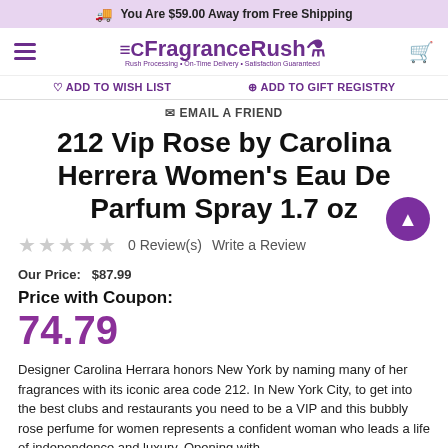You Are $59.00 Away from Free Shipping
[Figure (logo): FragranceRush logo with hamburger menu and cart icon]
♡ ADD TO WISH LIST   ADD TO GIFT REGISTRY
✉ EMAIL A FRIEND
212 Vip Rose by Carolina Herrera Women's Eau De Parfum Spray 1.7 oz
★★★★★  0 Review(s)   Write a Review
Our Price:  $87.99
Price with Coupon:
74.79
Designer Carolina Herrara honors New York by naming many of her fragrances with its iconic area code 212. In New York City, to get into the best clubs and restaurants you need to be a VIP and this bubbly rose perfume for women represents a confident woman who leads a life of independence and luxury. Opening with